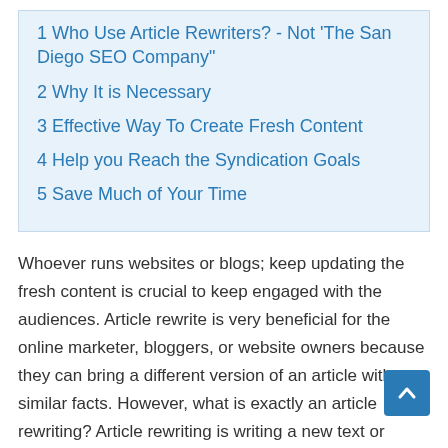1 Who Use Article Rewriters? - Not 'The San Diego SEO Company"
2 Why It is Necessary
3 Effective Way To Create Fresh Content
4 Help you Reach the Syndication Goals
5 Save Much of Your Time
Whoever runs websites or blogs; keep updating the fresh content is crucial to keep engaged with the audiences. Article rewrite is very beneficial for the online marketer, bloggers, or website owners because they can bring a different version of an article with similar facts. However, what is exactly an article rewriting? Article rewriting is writing a new text or article which is based on the factual studies and research to emphasize the key concept and